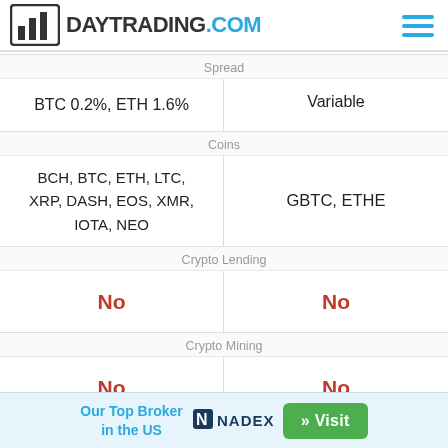[Figure (logo): DayTrading.com logo with bar chart icon and hamburger menu]
| Spread |  |
| --- | --- |
| BTC 0.2%, ETH 1.6% | Variable |
| Coins |  |
| BCH, BTC, ETH, LTC, XRP, DASH, EOS, XMR, IOTA, NEO | GBTC, ETHE |
| Crypto Lending |  |
| No | No |
| Crypto Mining |  |
| No | No |
| Crypto Staking |  |
| No | - |
Our Top Broker in the US
[Figure (logo): NADEX logo]
» Visit